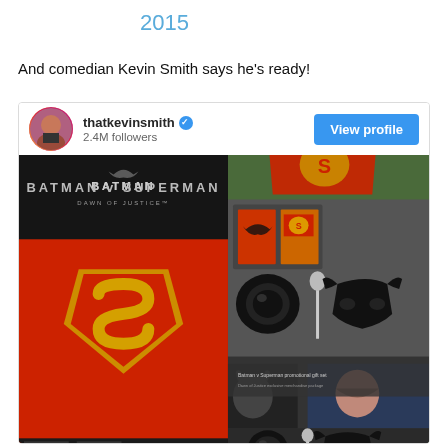2015
And comedian Kevin Smith says he's ready!
[Figure (screenshot): Instagram profile card for thatkevinsmith with 2.4M followers, verified badge, View profile button, and a photo collage showing Batman v Superman: Dawn of Justice promotional items including a red Superman cape with S logo, and a gift box with Batman masks, cereal boxes, and accessories on a green background.]